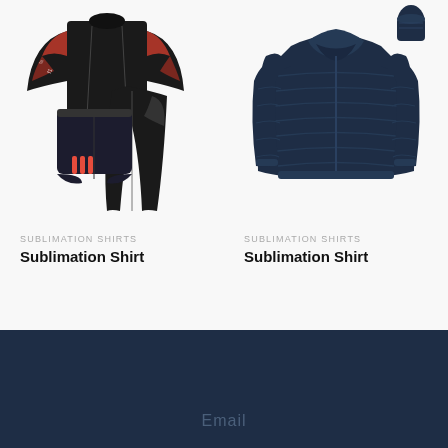[Figure (photo): Athletic compression shirt set with long-sleeve top featuring red and black graphic print on sleeves, black shorts with red stripes, and black compression tights]
SUBLIMATION SHIRTS
Sublimation Shirt
[Figure (photo): Dark navy blue puffer/quilted down jacket with small navy stuff sack shown in upper right corner]
SUBLIMATION SHIRTS
Sublimation Shirt
Email